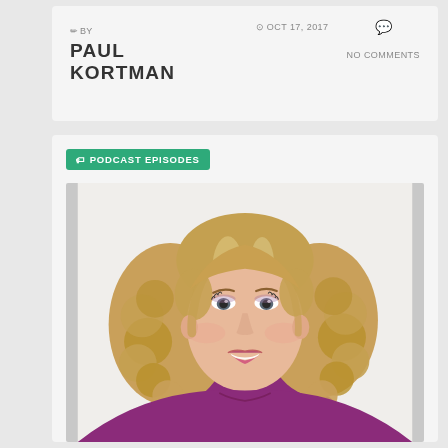BY PAUL KORTMAN
OCT 17, 2017
NO COMMENTS
PODCAST EPISODES
[Figure (photo): Portrait photo of a smiling woman with curly blonde hair wearing a purple top, photographed against a white background]